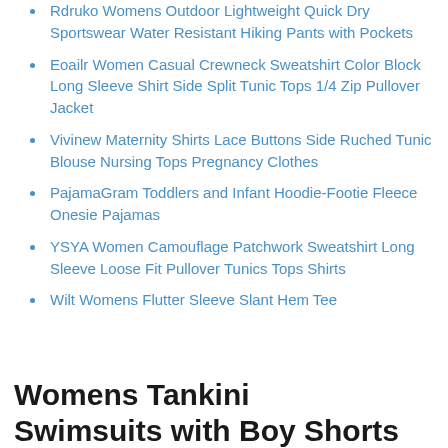Rdruko Womens Outdoor Lightweight Quick Dry Sportswear Water Resistant Hiking Pants with Pockets
Eoailr Women Casual Crewneck Sweatshirt Color Block Long Sleeve Shirt Side Split Tunic Tops 1/4 Zip Pullover Jacket
Vivinew Maternity Shirts Lace Buttons Side Ruched Tunic Blouse Nursing Tops Pregnancy Clothes
PajamaGram Toddlers and Infant Hoodie-Footie Fleece Onesie Pajamas
YSYA Women Camouflage Patchwork Sweatshirt Long Sleeve Loose Fit Pullover Tunics Tops Shirts
Wilt Womens Flutter Sleeve Slant Hem Tee
Womens Tankini Swimsuits with Boy Shorts